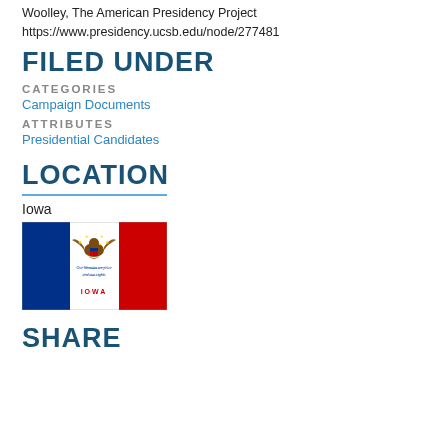Woolley, The American Presidency Project
https://www.presidency.ucsb.edu/node/277481
FILED UNDER
CATEGORIES
Campaign Documents
ATTRIBUTES
Presidential Candidates
LOCATION
Iowa
[Figure (illustration): Iowa state flag showing blue, white, and red vertical stripes with an eagle in the center and IOWA written at the bottom]
SHARE